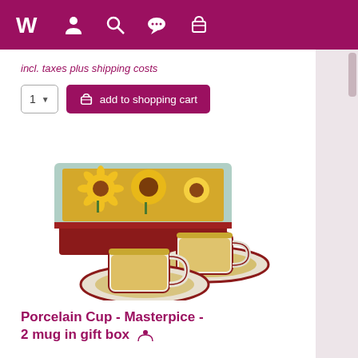Navigation bar with logo, account, search, chat, and cart icons
incl. taxes plus shipping costs
1  add to shopping cart
[Figure (photo): Product photo showing a decorative gift box with sunflowers design lid (Van Gogh style), and two porcelain cup-and-saucer sets decorated with yellow sunflowers pattern and dark red/brown border]
Porcelain Cup - Masterpice - 2 mug in gift box